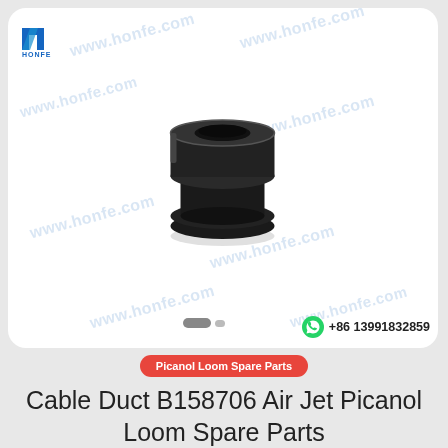[Figure (logo): HONFE company logo — blue H-shaped icon with HONFE text below]
[Figure (photo): Black rubber cable duct / grommet — cylindrical rubber part with a central hole and a flanged groove around the middle, photographed on white background]
+86 13991832859
Picanol Loom Spare Parts
Cable Duct B158706 Air Jet Picanol Loom Spare Parts